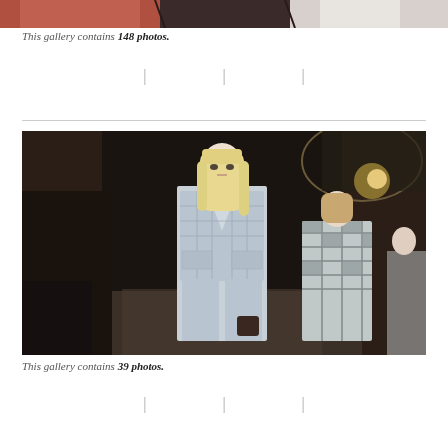[Figure (photo): Partial view of fashion runway models wearing red/orange and white gowns, cropped at top of page]
This gallery contains 148 photos.
[Figure (photo): Fashion runway photo showing models walking in silver/metallic outfits in an ornate venue. Lead model wears a quilted silver jacket and pants with blonde hair.]
This gallery contains 39 photos.